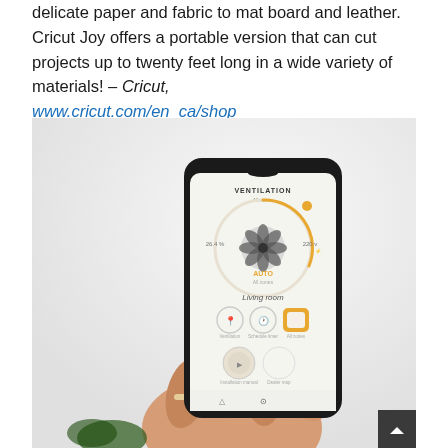delicate paper and fabric to mat board and leather. Cricut Joy offers a portable version that can cut projects up to twenty feet long in a wide variety of materials! – Cricut, www.cricut.com/en_ca/shop
[Figure (photo): A hand holding a smartphone displaying a ventilation app with a fan/dial interface showing controls for living room. The background is light/white.]